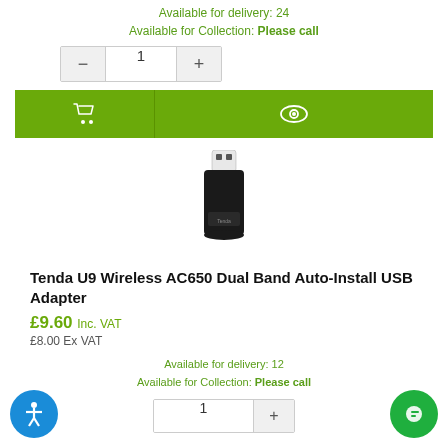Available for delivery: 24
Available for Collection: Please call
[Figure (screenshot): Quantity selector with minus, 1, plus buttons]
[Figure (screenshot): Green action buttons: cart icon and eye icon]
[Figure (photo): Tenda U9 USB wireless adapter - small black USB dongle with white USB connector]
Tenda U9 Wireless AC650 Dual Band Auto-Install USB Adapter
£9.60 Inc. VAT
£8.00 Ex VAT
Available for delivery: 12
Available for Collection: Please call
[Figure (screenshot): Quantity selector with 1 and plus button]